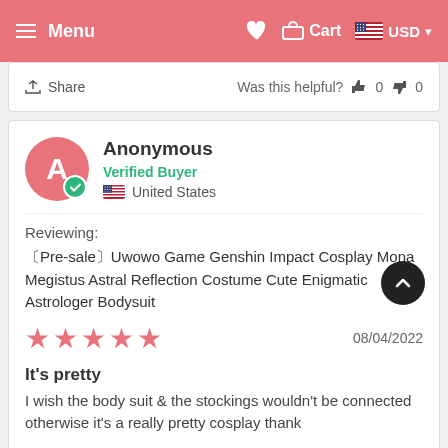Menu  Cart  USD
Share  Was this helpful? 👍 0 👎 0
Anonymous
Verified Buyer
United States
Reviewing:
〔Pre-sale〕Uwowo Game Genshin Impact Cosplay Mona Megistus Astral Reflection Costume Cute Enigmatic Astrologer Bodysuit
★★★★★  08/04/2022
It's pretty
I wish the body suit & the stockings wouldn't be connected otherwise it's a really pretty cosplay thank